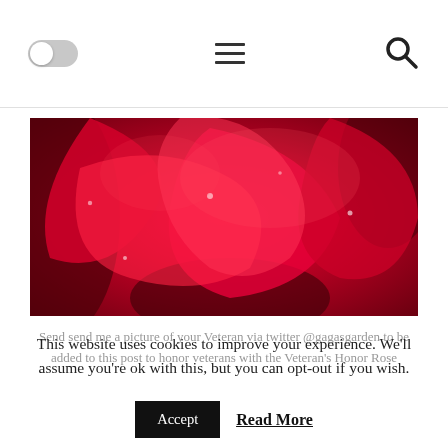Toggle menu | Hamburger menu | Search
[Figure (photo): Close-up photo of a deep red rose with dewdrops on petals, filling the image area]
Send send me a picture of your Veteran via twitter @gagasgarden to be added to this post to honor veterans with the Veteran's Honor Rose
This website uses cookies to improve your experience. We'll assume you're ok with this, but you can opt-out if you wish.
Accept  Read More